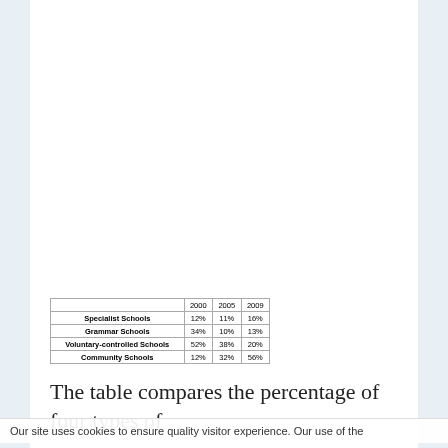|  | 2000 | 2005 | 2009 |
| --- | --- | --- | --- |
| Specialist Schools | 12% | 11% | 16% |
| Grammar Schools | 34% | 10% | 13% |
| Voluntary-controlled Schools | 52% | 38% | 20% |
| Community Schools | 12% | 32% | 56% |
The table compares the percentage of four types of
Our site uses cookies to ensure quality visitor experience. Our use of the